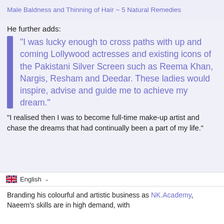Male Baldness and Thinning of Hair ~ 5 Natural Remedies
He further adds:
“I was lucky enough to cross paths with up and coming Lollywood actresses and existing icons of the Pakistani Silver Screen such as Reema Khan, Nargis, Resham and Deedar. These ladies would inspire, advise and guide me to achieve my dream.”
"I realised then I was to become full-time make-up artist and chase the dreams that had continually been a part of my life."
English
Branding his colourful and artistic business as NK.Academy, Naeem’s skills are in high demand, with